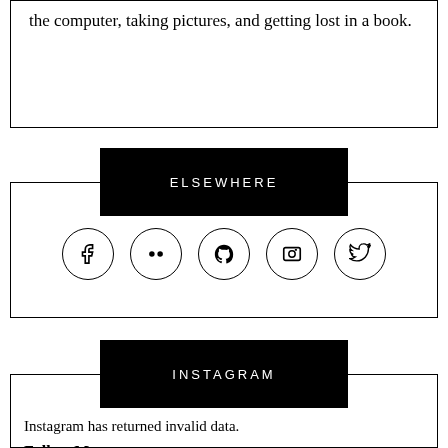the computer, taking pictures, and getting lost in a book.
ELSEWHERE
[Figure (infographic): Five social media icon circles: Facebook, Flickr, GitHub, Instagram camera, Twitter]
INSTAGRAM
Instagram has returned invalid data.
Follow Me